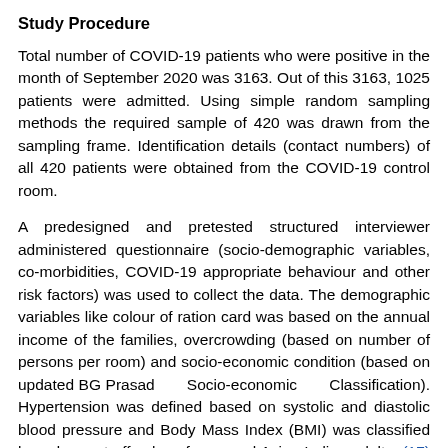Study Procedure
Total number of COVID-19 patients who were positive in the month of September 2020 was 3163. Out of this 3163, 1025 patients were admitted. Using simple random sampling methods the required sample of 420 was drawn from the sampling frame. Identification details (contact numbers) of all 420 patients were obtained from the COVID-19 control room.
A predesigned and pretested structured interviewer administered questionnaire (socio-demographic variables, co-morbidities, COVID-19 appropriate behaviour and other risk factors) was used to collect the data. The demographic variables like colour of ration card was based on the annual income of the families, overcrowding (based on number of persons per room) and socio-economic condition (based on updated BG Prasad Socio-economic Classification). Hypertension was defined based on systolic and diastolic blood pressure and Body Mass Index (BMI) was classified based on cut-off values for normal Asian Indian adults. (17) (20) (21). Data